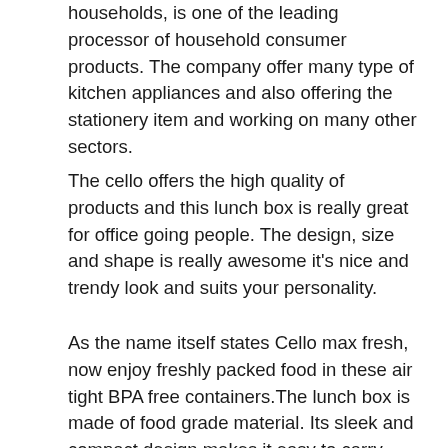households, is one of the leading processor of household consumer products. The company offer many type of kitchen appliances and also offering the stationery item and working on many other sectors.
The cello offers the high quality of products and this lunch box is really great for office going people. The design, size and shape is really awesome it's nice and trendy look and suits your personality.
As the name itself states Cello max fresh, now enjoy freshly packed food in these air tight BPA free containers.The lunch box is made of food grade material. Its sleek and compact design makes it easy to carry and ideal for office, school and travelling.